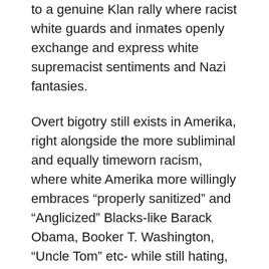to a genuine Klan rally where racist white guards and inmates openly exchange and express white supremacist sentiments and Nazi fantasies.
Overt bigotry still exists in Amerika, right alongside the more subliminal and equally timeworn racism, where white Amerika more willingly embraces “properly sanitized” and “Anglicized” Blacks-like Barack Obama, Booker T. Washington, “Uncle Tom” etc- while still hating, fearing and avoiding the masses of lower class Blacks and Browns who don’t ape the status quo (refusing to personify white culture as “superior” to their own).
Both forms of racial oppression operate hand in hand. And both forms need to be rooted out- a good starting point would be in rallying and organizing